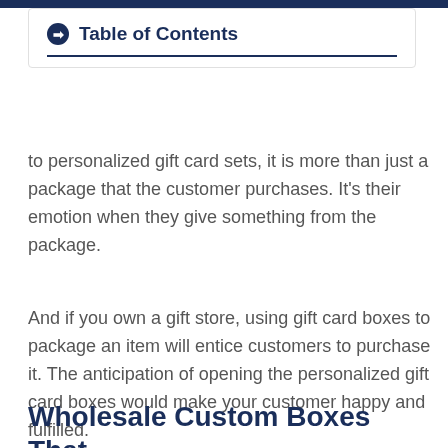Table of Contents
to personalized gift card sets, it is more than just a package that the customer purchases. It's their emotion when they give something from the package.
And if you own a gift store, using gift card boxes to package an item will entice customers to purchase it. The anticipation of opening the personalized gift card boxes would make your customer happy and fulfilled.
Wholesale Custom Boxes That